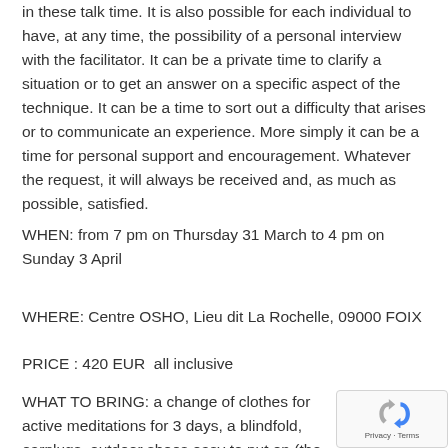in these talk time. It is also possible for each individual to have, at any time, the possibility of a personal interview with the facilitator. It can be a private time to clarify a situation or to get an answer on a specific aspect of the technique. It can be a time to sort out a difficulty that arises or to communicate an experience. More simply it can be a time for personal support and encouragement. Whatever the request, it will always be received and, as much as possible, satisfied.
WHEN: from 7 pm on Thursday 31 March to 4 pm on Sunday 3 April
WHERE: Centre OSHO, Lieu dit La Rochelle, 09000 FOIX
PRICE : 420 EUR  all inclusive
WHAT TO BRING: a change of clothes for active meditations for 3 days, a blindfold, earplugs, outdoor shoes easy to put on (the meditation room is reached